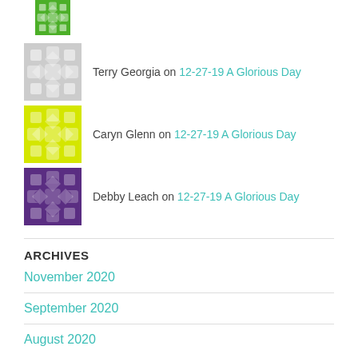[Figure (illustration): Green decorative tile avatar icon at top]
Terry Georgia on 12-27-19 A Glorious Day
Caryn Glenn on 12-27-19 A Glorious Day
Debby Leach on 12-27-19 A Glorious Day
ARCHIVES
November 2020
September 2020
August 2020